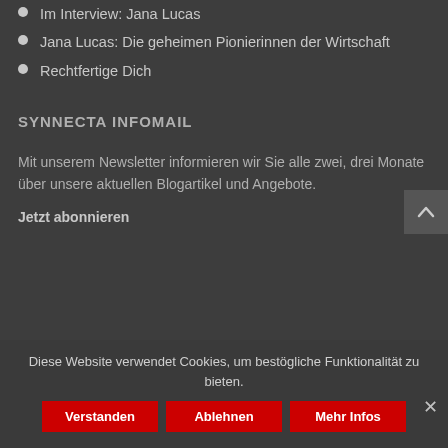Im Interview: Jana Lucas
Jana Lucas: Die geheimen Pionierinnen der Wirtschaft
Rechtfertige Dich
SYNNECTA INFOMAIL
Mit unserem Newsletter informieren wir Sie alle zwei, drei Monate über unsere aktuellen Blogartikel und Angebote.
Jetzt abonnieren
Diese Website verwendet Cookies, um bestögliche Funktionalität zu bieten.